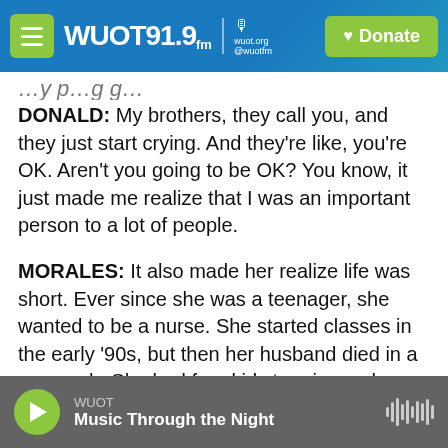WUOT 91.9 FM | wuot.org | @wuotfm | Donate
…y p…g g…
DONALD: My brothers, they call you, and they just start crying. And they're like, you're OK. Aren't you going to be OK? You know, it just made me realize that I was an important person to a lot of people.
MORALES: It also made her realize life was short. Ever since she was a teenager, she wanted to be a nurse. She started classes in the early '90s, but then her husband died in a car crash. She had four kids to raise on her own. She put off her goal and worked full time while her mom took care of the kids. But her hope of one day becoming a nurse
WUOT | Music Through the Night